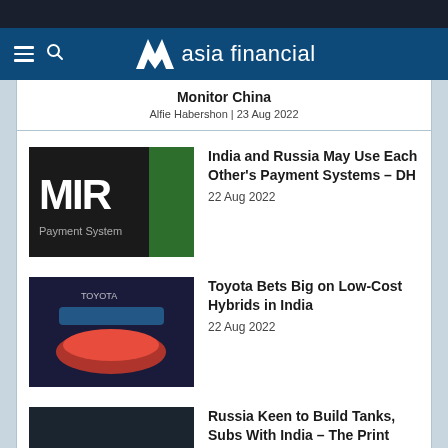asia financial
Monitor China
Alfie Habershon | 23 Aug 2022
India and Russia May Use Each Other's Payment Systems – DH
22 Aug 2022
Toyota Bets Big on Low-Cost Hybrids in India
22 Aug 2022
Russia Keen to Build Tanks, Subs With India – The Print
21 Aug 2022